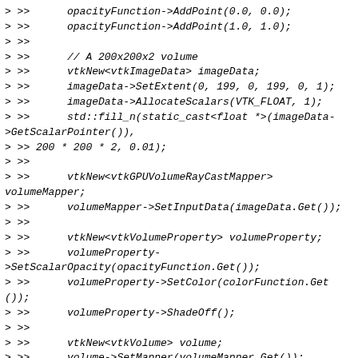> >>      opacityFunction->AddPoint(0.0, 0.0);
> >>      opacityFunction->AddPoint(1.0, 1.0);
> >>
> >>      // A 200x200x2 volume
> >>      vtkNew<vtkImageData> imageData;
> >>      imageData->SetExtent(0, 199, 0, 199, 0, 1);
> >>      imageData->AllocateScalars(VTK_FLOAT, 1);
> >>      std::fill_n(static_cast<float *>(imageData->GetScalarPointer(),
> >> 200 * 200 * 2, 0.01);
> >>
> >>      vtkNew<vtkGPUVolumeRayCastMapper>
volumeMapper;
> >>      volumeMapper->SetInputData(imageData.Get());
> >>
> >>      vtkNew<vtkVolumeProperty> volumeProperty;
> >>      volumeProperty->SetScalarOpacity(opacityFunction.Get());
> >>      volumeProperty->SetColor(colorFunction.Get());
> >>      volumeProperty->ShadeOff();
> >>
> >>      vtkNew<vtkVolume> volume;
> >>      volume->SetMapper(volumeMapper.Get());
> >>      volume->SetProperty(volumeProperty.Get());
> >>      volume->SetPosition(120, 0, 0);
> >>
> >>      // A 200x200x3 volume
> >>      vtkNew<vtkImageData> imageData2;
> >>      imageData2->SetExtent(0, 199, 0, 199, 0, 2);
> >>      imageData2->AllocateScalars(VTK_FLOAT, 1);